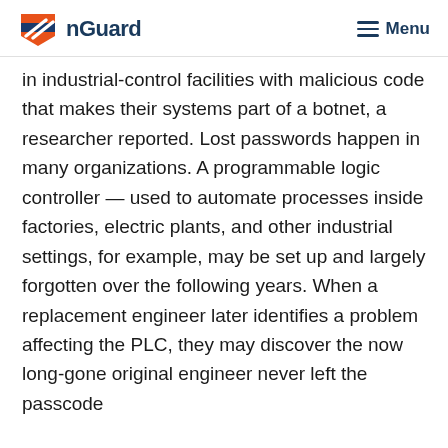nGuard | Menu
in industrial-control facilities with malicious code that makes their systems part of a botnet, a researcher reported. Lost passwords happen in many organizations. A programmable logic controller — used to automate processes inside factories, electric plants, and other industrial settings, for example, may be set up and largely forgotten over the following years. When a replacement engineer later identifies a problem affecting the PLC, they may discover the now long-gone original engineer never left the passcode behind for documentation purposes. A